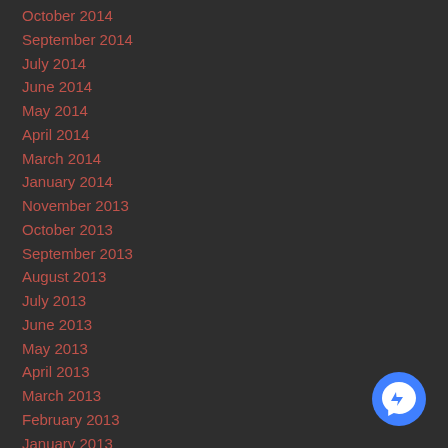October 2014
September 2014
July 2014
June 2014
May 2014
April 2014
March 2014
January 2014
November 2013
October 2013
September 2013
August 2013
July 2013
June 2013
May 2013
April 2013
March 2013
February 2013
January 2013
Categories
[Figure (logo): Facebook Messenger blue circle icon with lightning bolt chat symbol]